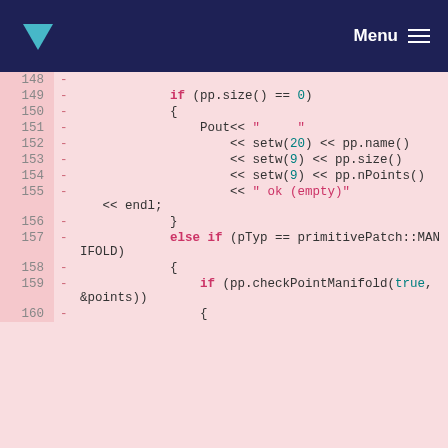Menu
[Figure (screenshot): Code diff view showing C++ source lines 148-160 with removed lines (marked with dash) on a pink background. Lines include if/else if conditions checking pp.size() == 0 and pTyp == primitivePatch::MANIFOLD, with output streaming code and checkPointManifold call.]